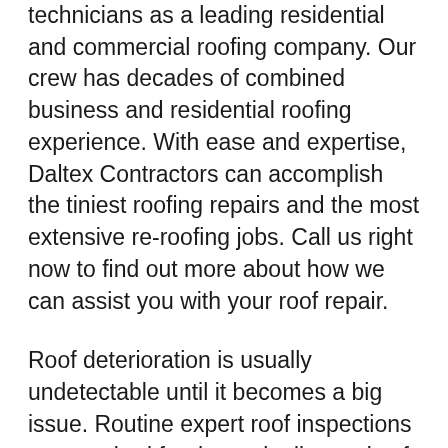technicians as a leading residential and commercial roofing company. Our crew has decades of combined business and residential roofing experience. With ease and expertise, Daltex Contractors can accomplish the tiniest roofing repairs and the most extensive re-roofing jobs. Call us right now to find out more about how we can assist you with your roof repair.
Roof deterioration is usually undetectable until it becomes a big issue. Routine expert roof inspections are required for the early diagnosis of such problems.
Please don't take a chance analyzing it on your own; instead, enlist the assistance of our highly qualified team of Texas roofers. Roof